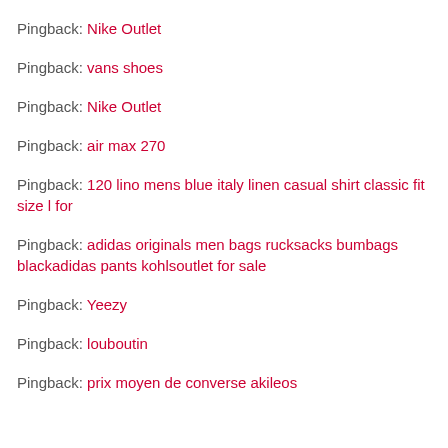Pingback: Nike Outlet
Pingback: vans shoes
Pingback: Nike Outlet
Pingback: air max 270
Pingback: 120 lino mens blue italy linen casual shirt classic fit size l for
Pingback: adidas originals men bags rucksacks bumbags blackadidas pants kohlsoutlet for sale
Pingback: Yeezy
Pingback: louboutin
Pingback: prix moyen de converse akileos